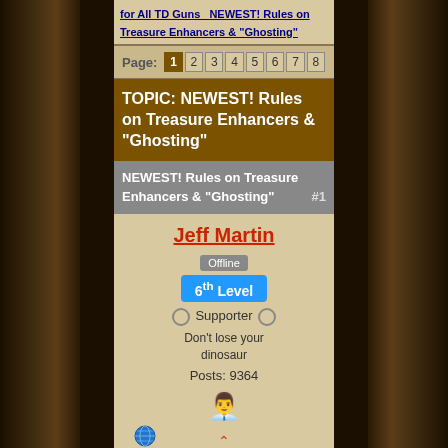for All TD Guns   NEWEST! Rules on Treasure Enhancers & "Ghosting"
Page: 1 2 3 4 5 6 7 8
TOPIC: NEWEST! Rules on Treasure Enhancers & "Ghosting"
NEWEST! Rules on Treasure Enhancers & "Ghosting"  #1
Jeff Martin
Offline
6th Level
Supporter
Don't lose your dinosaur
Posts: 9364